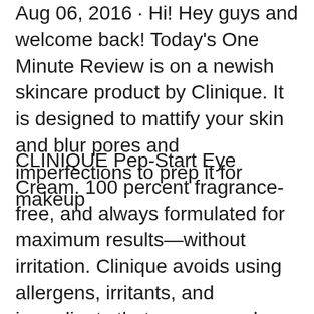Aug 06, 2016 · Hi! Hey guys and welcome back! Today's One Minute Review is on a newish skincare product by Clinique. It is designed to mattify your skin and blur pores and imperfections to prep it for makeup
CLINIQUE Pep-Start Eye Cream. 100 percent fragrance-free, and always formulated for maximum results—without irritation. Clinique avoids using allergens, irritants, and ingredients that can age or harm skin, while never sacrificing one bit of the effectiveness you need. Visit the CLINIQUE boutique. Sep 04, 2016 · CLINIQUE Pep-Start HydroBlur™ Moisturiser is a moisturiser that hydrates the skin, prepares it for makeup, and also has skin...